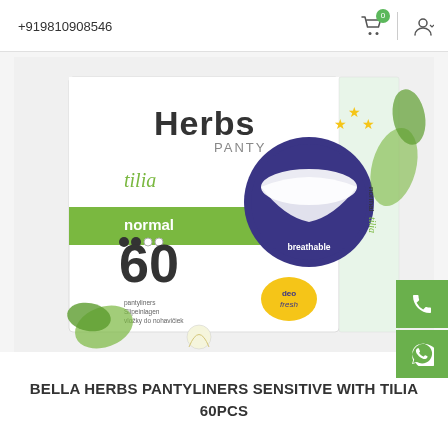+919810908546
[Figure (photo): Bella Herbs Panty Liners product box — white and green packaging showing 'Herbs PANTY tilia normal 60' with breathable label, deo fresh badge, and tilia flower imagery]
BELLA HERBS PANTYLINERS SENSITIVE WITH TILIA 60PCS